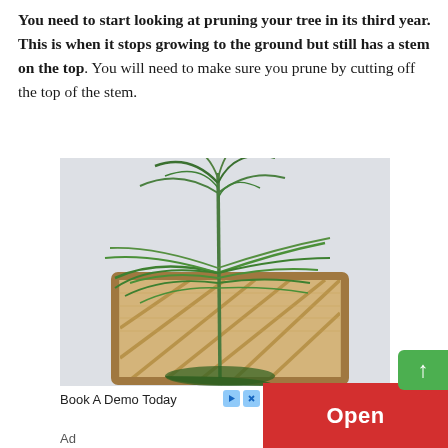You need to start looking at pruning your tree in its third year. This is when it stops growing to the ground but still has a stem on the top. You will need to make sure you prune by cutting off the top of the stem.
[Figure (photo): A palm-like plant with long green fronds growing tall from a woven rattan or wooden frame/planter with diagonal wood slat pattern, against a light grey background.]
Book A Demo Today
Ad